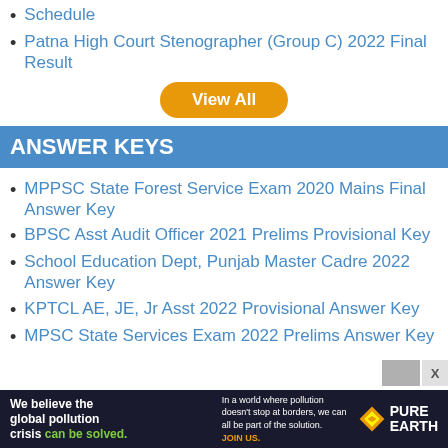Schedule
Patna High Court Stenographer (Group C) 2022 Final Result
View All
ANSWER KEYS
MPPSC State Forest Service Exam 2020 Mains Final Answer Key
BPSC Asst Audit Officer 2021 Prelims Provisional Key
School Education Dept, Punjab Master Cadre 2022 Answer Key
KPTCL AE, JE, Jr Asst 2022 Provisional Answer Key
MPSC State Services Exam 2022 Prelims Answer Key
[Figure (infographic): Advertisement banner for Pure Earth: 'We believe the global pollution crisis can be solved.' with Pure Earth logo and JOIN US call to action.]